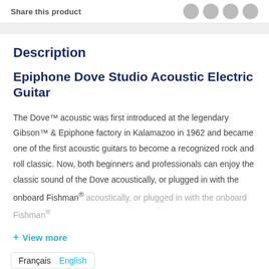Share this product
Description
Epiphone Dove Studio Acoustic Electric Guitar
The Dove™ acoustic was first introduced at the legendary Gibson™ & Epiphone factory in Kalamazoo in 1962 and became one of the first acoustic guitars to become a recognized rock and roll classic. Now, both beginners and professionals can enjoy the classic sound of the Dove acoustically, or plugged in with the onboard Fishman®
+ View more
Français  English